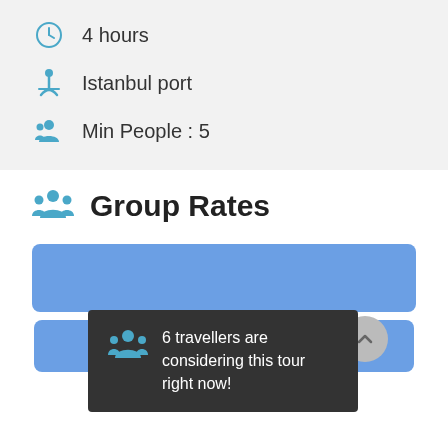4 hours
Istanbul port
Min People : 5
Group Rates
[Figure (infographic): Blue card placeholder for group rate tier]
6 travellers are considering this tour right now!
4-6 PAX